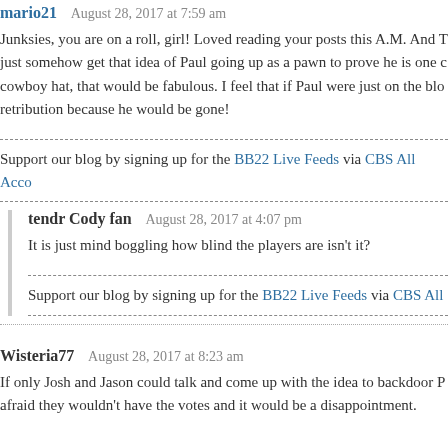mario21   August 28, 2017 at 7:59 am
Junksies, you are on a roll, girl! Loved reading your posts this A.M. And T just somehow get that idea of Paul going up as a pawn to prove he is one c cowboy hat, that would be fabulous. I feel that if Paul were just on the blo retribution because he would be gone!
Support our blog by signing up for the BB22 Live Feeds via CBS All Acco
tendr Cody fan   August 28, 2017 at 4:07 pm
It is just mind boggling how blind the players are isn't it?
Support our blog by signing up for the BB22 Live Feeds via CBS All
Wisteria77   August 28, 2017 at 8:23 am
If only Josh and Jason could talk and come up with the idea to backdoor P afraid they wouldn't have the votes and it would be a disappointment.